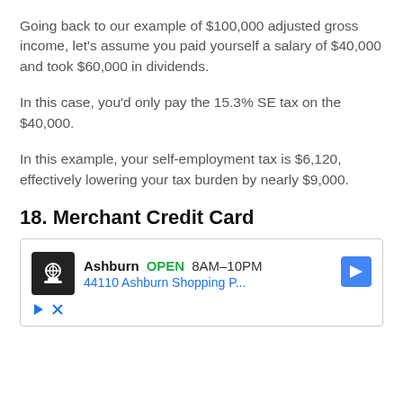Going back to our example of $100,000 adjusted gross income, let’s assume you paid yourself a salary of $40,000 and took $60,000 in dividends.
In this case, you’d only pay the 15.3% SE tax on the $40,000.
In this example, your self-employment tax is $6,120, effectively lowering your tax burden by nearly $9,000.
18. Merchant Credit Card
[Figure (other): Advertisement showing a business listing: Ashburn OPEN 8AM-10PM, 44110 Ashburn Shopping P... with a chef/cook icon and a blue navigation arrow icon. Below are play and close (X) icons in blue.]